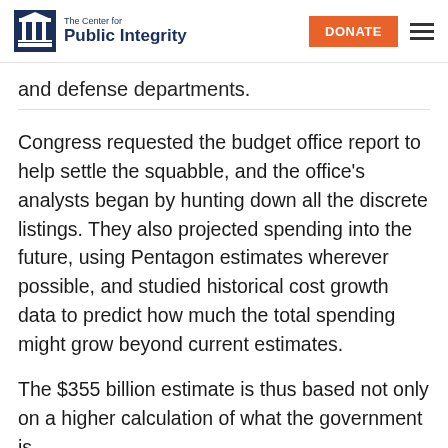The Center for Public Integrity | DONATE
and defense departments.
Congress requested the budget office report to help settle the squabble, and the office's analysts began by hunting down all the discrete listings. They also projected spending into the future, using Pentagon estimates wherever possible, and studied historical cost growth data to predict how much the total spending might grow beyond current estimates.
The $355 billion estimate is thus based not only on a higher calculation of what the government is